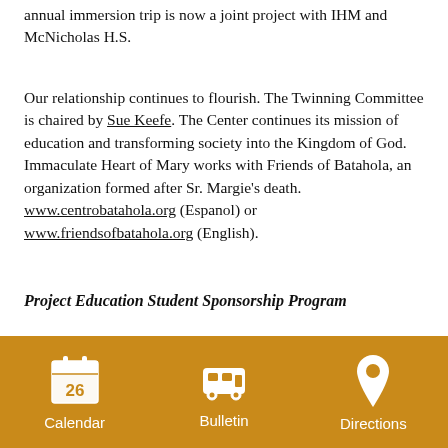annual immersion trip is now a joint project with IHM and McNicholas H.S.
Our relationship continues to flourish. The Twinning Committee is chaired by Sue Keefe. The Center continues its mission of education and transforming society into the Kingdom of God. Immaculate Heart of Mary works with Friends of Batahola, an organization formed after Sr. Margie's death. www.centrobatahola.org (Espanol) or www.friendsofbatahola.org (English).
Project Education Student Sponsorship Program
Click here to sponsor a student (online form)!
Sponsorship of students at the Cultural Center of Batahola Norte for classes held at the Center and for primary, secondary, and college scholarships. You may also sponsor a teacher or make a cash donation to the program. The sponsorship of students is accepted mid-November through March...
[Figure (infographic): Golden/orange footer navigation bar with three icons: Calendar (showing 26), Bulletin (showing a bus/book icon), and Directions (location pin icon), all in white on golden background.]